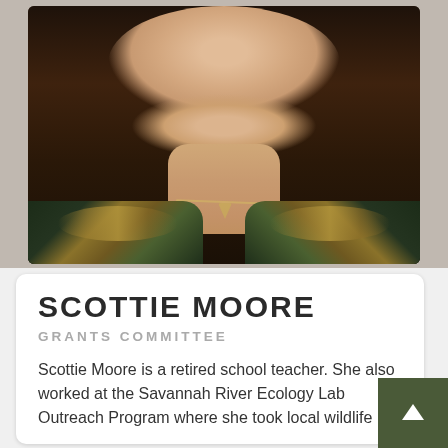[Figure (photo): Close-up portrait photo of a woman with dark brown hair, wearing a dark green/teal patterned jacket with gold embroidery and a gold necklace]
SCOTTIE MOORE
GRANTS COMMITTEE
Scottie Moore is a retired school teacher. She also worked at the Savannah River Ecology Lab Outreach Program where she took local wildlife